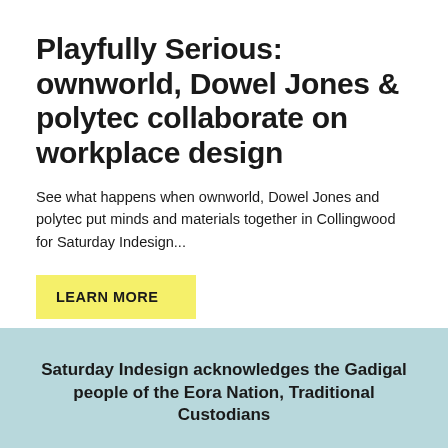Playfully Serious: ownworld, Dowel Jones & polytec collaborate on workplace design
See what happens when ownworld, Dowel Jones and polytec put minds and materials together in Collingwood for Saturday Indesign...
LEARN MORE
Saturday Indesign acknowledges the Gadigal people of the Eora Nation, Traditional Custodians